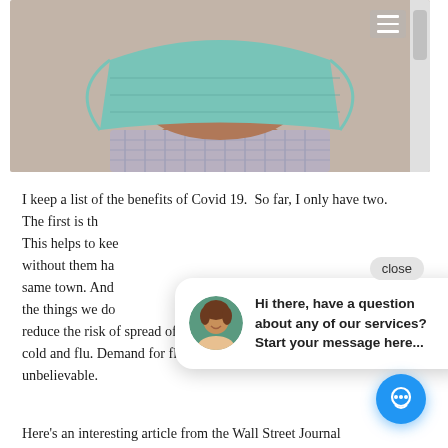[Figure (photo): Close-up photo of a person wearing a teal/light blue surgical face mask, with a checkered shirt visible at the bottom. Beige/tan wall in background. A hamburger menu icon is visible in the top right corner.]
I keep a list of the benefits of Covid 19. So far, I only have two. The first is th[at...] This helps to kee[p...] without them ha[ving...] same town. And [...] the things we do [...] reduce the risk of spread of other respiratory illness - cold and flu. Demand for flu vaccine this year was unbelievable.
Hi there, have a question about any of our services? Start your message here...
Here's an interesting article from the Wall Street Journal